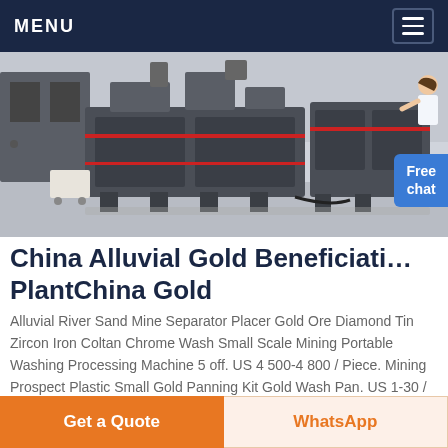MENU
[Figure (photo): Industrial mining machinery in a factory/warehouse setting. Large grey metal processing equipment on a factory floor.]
China Alluvial Gold Beneficiation PlantChina Gold
Alluvial River Sand Mine Separator Placer Gold Ore Diamond Tin Zircon Iron Coltan Chrome Wash Small Scale Mining Portable Washing Processing Machine 5 off. US 4 500-4 800 / Piece. Mining Prospect Plastic Small Gold Panning Kit Gold Wash Pan. US 1-30 / Piece. Alluvial Rock Sand River Gold Processing Equipment.
Get a Quote  WhatsApp